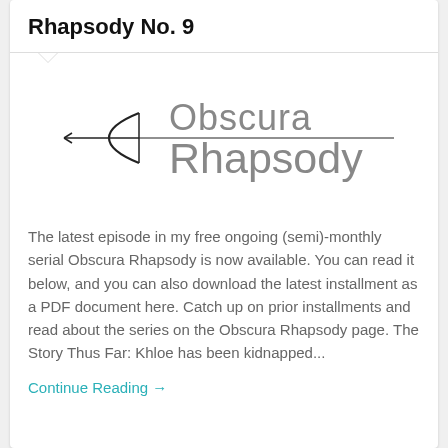Rhapsody No. 9
[Figure (logo): Obscura Rhapsody logo with a fencing sword/epee silhouette and thin horizontal line, stylized text reading 'Obscura Rhapsody' in a light sans-serif font]
The latest episode in my free ongoing (semi)-monthly serial Obscura Rhapsody is now available. You can read it below, and you can also download the latest installment as a PDF document here. Catch up on prior installments and read about the series on the Obscura Rhapsody page. The Story Thus Far: Khloe has been kidnapped...
Continue Reading →